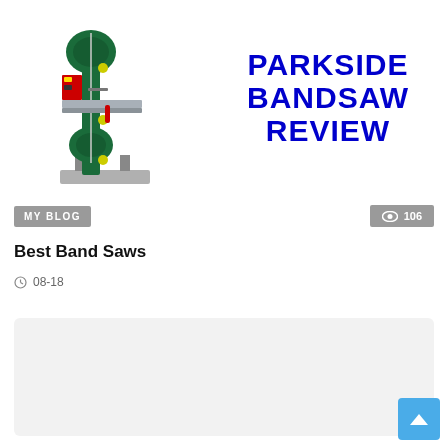[Figure (photo): Composite image: left side shows a green Parkside bandsaw machine on white background; right side shows bold blue text reading 'PARKSIDE BANDSAW REVIEW' on white background]
MY BLOG
106 views
Best Band Saws
08-18
[Figure (photo): Light gray placeholder card / image area]